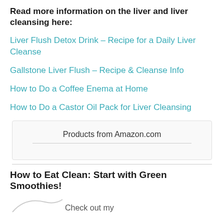Read more information on the liver and liver cleansing here:
Liver Flush Detox Drink – Recipe for a Daily Liver Cleanse
Gallstone Liver Flush – Recipe & Cleanse Info
How to Do a Coffee Enema at Home
How to Do a Castor Oil Pack for Liver Cleansing
Products from Amazon.com
How to Eat Clean: Start with Green Smoothies!
Check out my